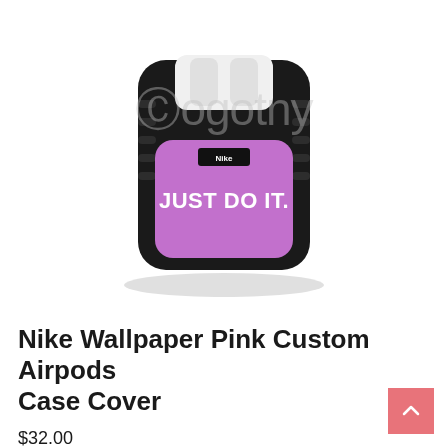[Figure (photo): A custom AirPods case with a purple/violet front panel displaying the Nike logo and 'JUST DO IT.' text in bold white letters. The case body is black and ribbed. A watermark reading 'Gogotny' is overlaid on the image.]
Nike Wallpaper Pink Custom Airpods Case Cover
$32.00
This is a brand new Airpods (Not Apple Airpods) with custom personalized case cover. Airpods case can be